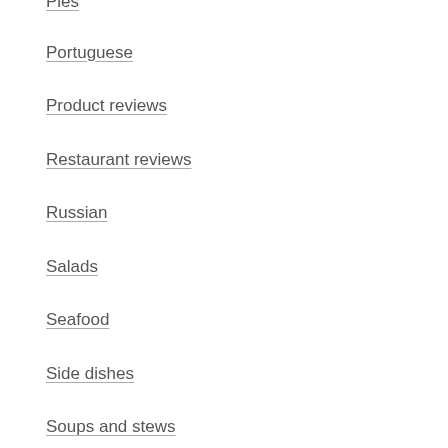Pies
Portuguese
Product reviews
Restaurant reviews
Russian
Salads
Seafood
Side dishes
Soups and stews
Southern
Spanish
Thai
Thanksgiving
The Best Thing I Ate This Month